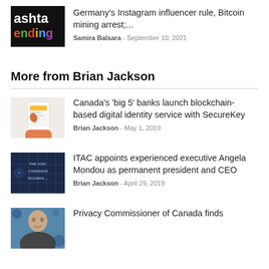[Figure (illustration): Hashtag Trending logo thumbnail with colorful letters on dark background]
Germany's Instagram influencer rule, Bitcoin mining arrest;...
Samira Balsara - September 10, 2021
More from Brian Jackson
[Figure (illustration): Hand holding a smartphone with a mobile app interface]
Canada’s ‘big 5’ banks launch blockchain-based digital identity service with SecureKey
Brian Jackson - May 1, 2019
[Figure (photo): Dark blue background with text: THE VOICE OF CANADIAN TECHNOLOGY]
ITAC appoints experienced executive Angela Mondou as permanent president and CEO
Brian Jackson - April 29, 2019
[Figure (photo): Person's face in foreground at a press event]
Privacy Commissioner of Canada finds